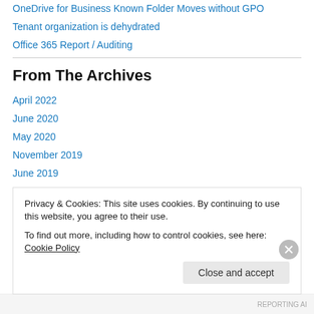OneDrive for Business Known Folder Moves without GPO
Tenant organization is dehydrated
Office 365 Report / Auditing
From The Archives
April 2022
June 2020
May 2020
November 2019
June 2019
February 2019
Privacy & Cookies: This site uses cookies. By continuing to use this website, you agree to their use.
To find out more, including how to control cookies, see here: Cookie Policy
Close and accept